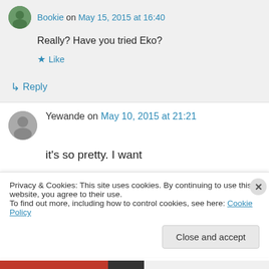Bookie on May 15, 2015 at 16:40
Really? Have you tried Eko?
Like
Reply
Yewande on May 10, 2015 at 21:21
it's so pretty. I want
Like
Privacy & Cookies: This site uses cookies. By continuing to use this website, you agree to their use. To find out more, including how to control cookies, see here: Cookie Policy
Close and accept